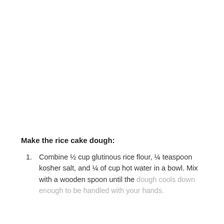Make the rice cake dough:
Combine ½ cup glutinous rice flour, ¼ teaspoon kosher salt, and ¼ of cup hot water in a bowl. Mix with a wooden spoon until the dough cools down enough to be handled with your hands.